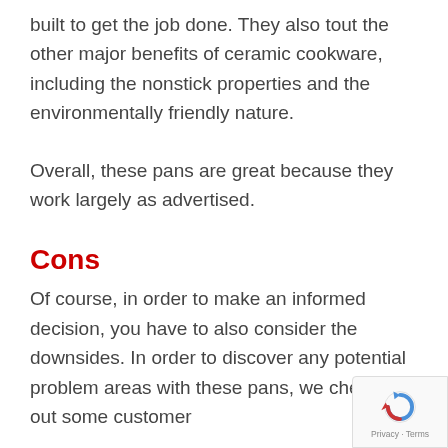built to get the job done. They also tout the other major benefits of ceramic cookware, including the nonstick properties and the environmentally friendly nature.
Overall, these pans are great because they work largely as advertised.
Cons
Of course, in order to make an informed decision, you have to also consider the downsides. In order to discover any potential problem areas with these pans, we checked out some customer